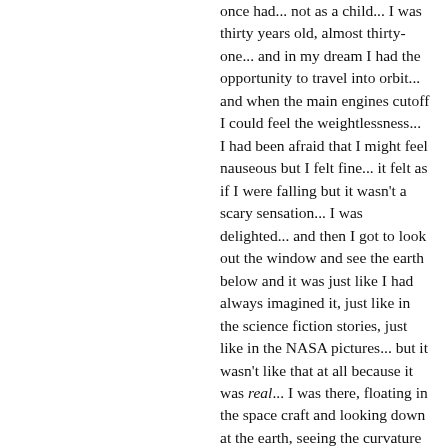once had... not as a child... I was thirty years old, almost thirty-one... and in my dream I had the opportunity to travel into orbit... and when the main engines cutoff I could feel the weightlessness... I had been afraid that I might feel nauseous but I felt fine... it felt as if I were falling but it wasn't a scary sensation... I was delighted... and then I got to look out the window and see the earth below and it was just like I had always imagined it, just like in the science fiction stories, just like in the NASA pictures... but it wasn't like that at all because it was real... I was there, floating in the space craft and looking down at the earth, seeing the curvature of the Earth, seing the blackness of space and the millions of stars (not twinkling, no atmosphere, just countless pinpoints of light against blackness) and the clouds